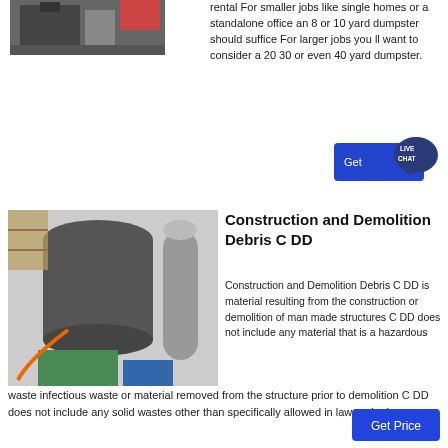[Figure (photo): Industrial machinery photo at top left]
rental For smaller jobs like single homes or a standalone office an 8 or 10 yard dumpster should suffice For larger jobs you ll want to consider a 20 30 or even 40 yard dumpster.
[Figure (infographic): Live Chat button with speech bubble and chat icon]
[Figure (photo): Industrial construction/demolition debris processing equipment inside a facility]
Construction and Demolition Debris C DD
Construction and Demolition Debris C DD is material resulting from the construction or demolition of man made structures C DD does not include any material that is a hazardous waste infectious waste or material removed from the structure prior to demolition C DD does not include any solid wastes other than specifically allowed in law and rule.
[Figure (infographic): Get Price blue button]